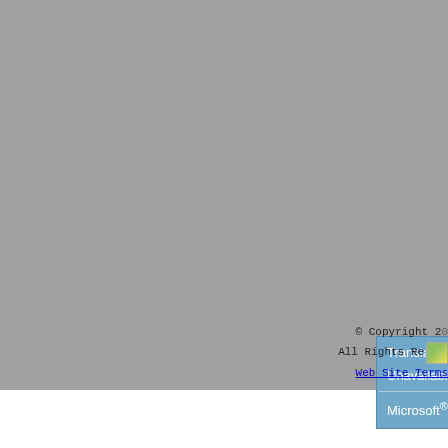[Figure (screenshot): Microsoft Translator widget popup showing 'Translate this page' and 'Unavailable' text with a blue background]
© Copyright 2à All Rights Re Web Site Terms